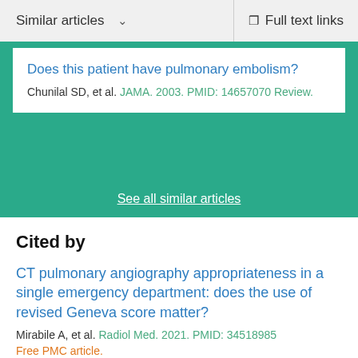Similar articles ∨   Full text links
Does this patient have pulmonary embolism?
Chunilal SD, et al. JAMA. 2003. PMID: 14657070 Review.
See all similar articles
Cited by
CT pulmonary angiography appropriateness in a single emergency department: does the use of revised Geneva score matter?
Mirabile A, et al. Radiol Med. 2021. PMID: 34518985
Free PMC article.